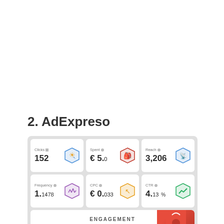2. AdExpreso
[Figure (screenshot): AdExpreso dashboard showing 6 metric cards: Clicks 152, Spent €5.0, Reach 3,206, Frequency 1.1478, CPC €0.033, CTR 4.13%. Each card has a hexagon icon. Below is an ENGAGEMENT panel with a partial image.]